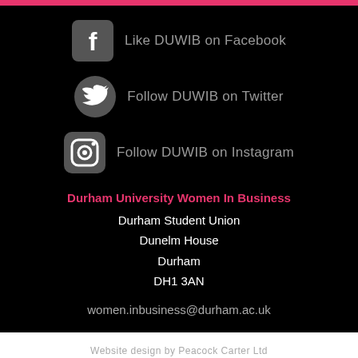[Figure (logo): Pink horizontal bar at top of page]
Like DUWIB on Facebook
Follow DUWIB on Twitter
Follow DUWIB on Instagram
Durham University Women In Business
Durham Student Union
Dunelm House
Durham
DH1 3AN
women.inbusiness@durham.ac.uk
Website design by Peacock Carter Ltd